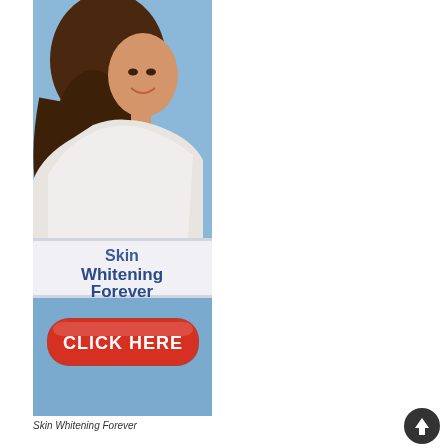[Figure (illustration): Advertisement banner for 'Skin Whitening Forever'. Top portion shows a smiling woman with long brown hair on a light blue background. Below is a white banner with dark blue text reading 'Skin Whitening Forever'. Bottom section has a light blue background with a red rounded-rectangle button with white bold text 'CLICK HERE'.]
Skin Whitening Forever